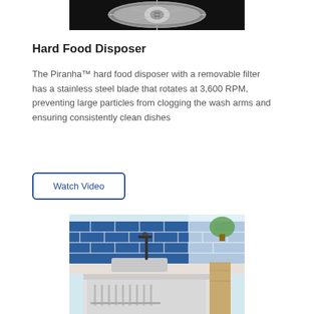[Figure (photo): Close-up photo of a mechanical/hard food disposer component — circular grey metal part with filter mesh, on black background]
Hard Food Disposer
The Piranha™ hard food disposer with a removable filter has a stainless steel blade that rotates at 3,600 RPM, preventing large particles from clogging the wash arms and ensuring consistently clean dishes
Watch Video
[Figure (photo): Kitchen scene showing a dishwasher with dishes inside, a sink with black faucet, blue tile backsplash, and bright window with plants]